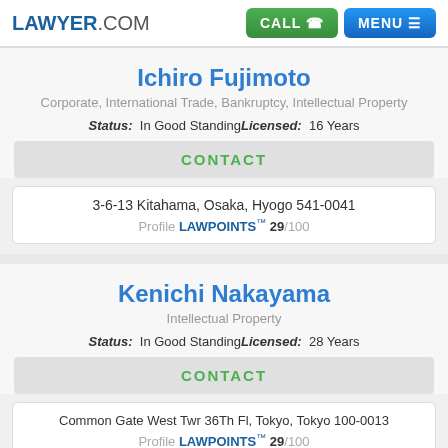LAWYER.COM — CALL | MENU
Ichiro Fujimoto
Corporate, International Trade, Bankruptcy, Intellectual Property
Status: In Good Standing Licensed: 16 Years
CONTACT
3-6-13 Kitahama, Osaka, Hyogo 541-0041
Profile LAWPOINTS™ 29/100
Kenichi Nakayama
Intellectual Property
Status: In Good Standing Licensed: 28 Years
CONTACT
Common Gate West Twr 36Th Fl, Tokyo, Tokyo 100-0013
Profile LAWPOINTS™ 29/100